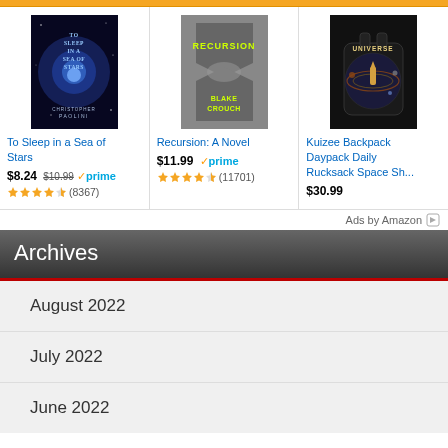[Figure (photo): Book cover: To Sleep in a Sea of Stars by Christopher Paolini — dark cover with blue nebula]
To Sleep in a Sea of Stars
$8.24 $10.99 ✓prime ★★★★½ (8367)
[Figure (photo): Book cover: Recursion: A Novel by Blake Crouch — hourglass design in yellow and grey]
Recursion: A Novel
$11.99 ✓prime ★★★★½ (11701)
[Figure (photo): Product image: Kuizee Backpack Daypack Daily Rucksack Space Sh... — space/universe themed backpack]
Kuizee Backpack Daypack Daily Rucksack Space Sh...
$30.99
Ads by Amazon
Archives
August 2022
July 2022
June 2022